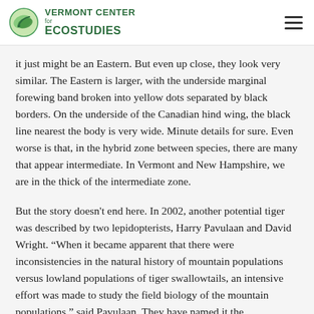Vermont Center for Ecostudies
it just might be an Eastern. But even up close, they look very similar. The Eastern is larger, with the underside marginal forewing band broken into yellow dots separated by black borders. On the underside of the Canadian hind wing, the black line nearest the body is very wide. Minute details for sure. Even worse is that, in the hybrid zone between species, there are many that appear intermediate. In Vermont and New Hampshire, we are in the thick of the intermediate zone.
But the story doesn't end here. In 2002, another potential tiger was described by two lepidopterists, Harry Pavulaan and David Wright. “When it became apparent that there were inconsistencies in the natural history of mountain populations versus lowland populations of tiger swallowtails, an intensive effort was made to study the field biology of the mountain populations,” said Pavulaan. They have named it the Appalachian Tiger Swallowtail and affectionately refer to it as “Appy”. So far, it is known only from the central and southern Appalachian Mountains.